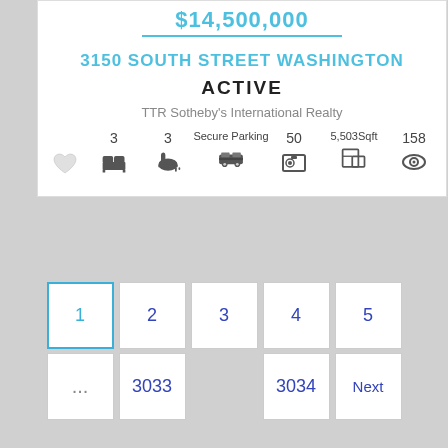$14,500,000
3150 SOUTH STREET WASHINGTON
ACTIVE
TTR Sotheby's International Realty
3 bedrooms, 3 bathrooms, Secure Parking, 50 photos, 5,503 Sqft, 158 views
1 2 3 4 5 ... 3033 3034 Next